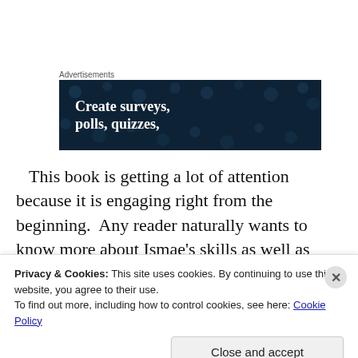Advertisements
[Figure (illustration): Dark navy blue advertisement banner with white bold text reading 'Create surveys, polls, quizzes,' and decorative dot pattern in background]
This book is getting a lot of attention because it is engaging right from the beginning. Any reader naturally wants to know more about Ismae's skills as well as who is betraying the young duchess. The characters are all
Privacy & Cookies: This site uses cookies. By continuing to use this website, you agree to their use.
To find out more, including how to control cookies, see here: Cookie Policy
Close and accept